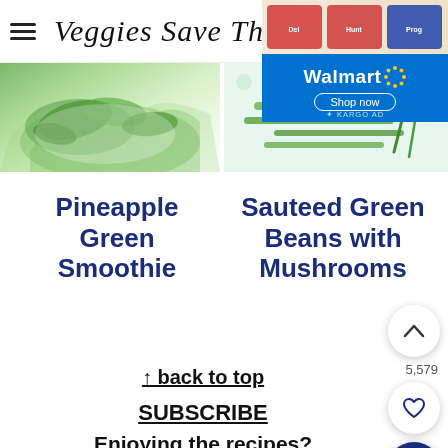Veggies Save The Day  SUBSCRIBE
[Figure (photo): Food photo showing green spinach leaves on a white plate (left) and green beans on a floral cloth (right)]
[Figure (other): Walmart advertisement overlay with product strip and Shop now button, branded with KARGO AD]
Pineapple Green Smoothie
Sauteed Green Beans with Mushrooms
↑ back to top
SUBSCRIBE
Enjoying the recipes?